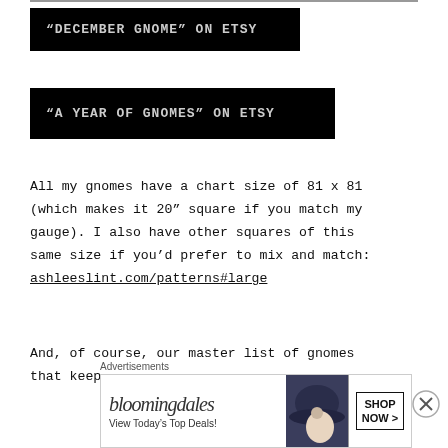“DECEMBER GNOME” ON ETSY
“A YEAR OF GNOMES” ON ETSY
All my gnomes have a chart size of 81 x 81 (which makes it 20” square if you match my gauge). I also have other squares of this same size if you’d prefer to mix and match: ashleeslint.com/patterns#large
And, of course, our master list of gnomes that keeps getting updated:
[Figure (other): Bloomingdale's advertisement banner showing logo, 'View Today's Top Deals!' text, woman with hat, and SHOP NOW button]